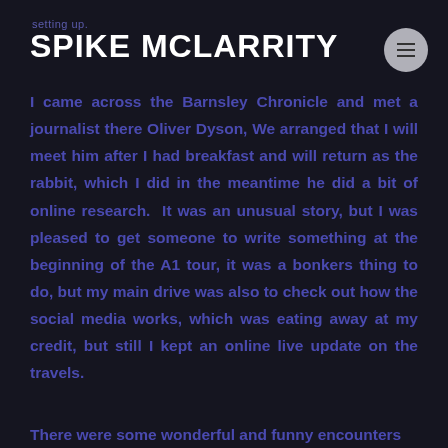setting up.
SPIKE MCLARRITY
I came across the Barnsley Chronicle and met a journalist there Oliver Dyson, We arranged that I will meet him after I had breakfast and will return as the rabbit, which I did in the meantime he did a bit of online research.  It was an unusual story, but I was pleased to get someone to write something at the beginning of the A1 tour, it was a bonkers thing to do, but my main drive was also to check out how the social media works, which was eating away at my credit, but still I kept an online live update on the travels.
There were some wonderful and funny encounters